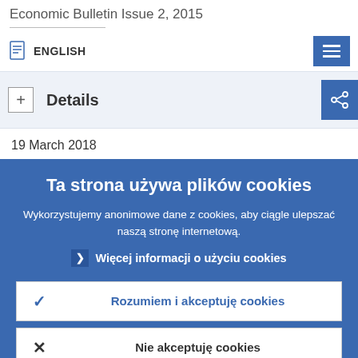Economic Bulletin Issue 2, 2015
ENGLISH
Details
19 March 2018
Ta strona używa plików cookies
Wykorzystujemy anonimowe dane z cookies, aby ciągle ulepszać naszą stronę internetową.
Więcej informacji o użyciu cookies
Rozumiem i akceptuję cookies
Nie akceptuję cookies